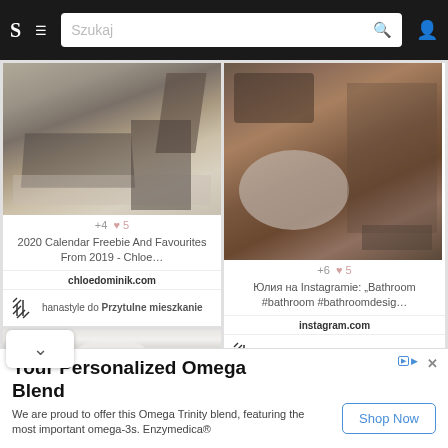S  ≡  Szukaj 🔍  👤
[Figure (screenshot): Interior photo of a dining area with concrete table and chairs on patterned rug]
+4  ♥ 5
2020 Calendar Freebie And Favourites From 2019 - Chloe…
chloedominik.com
hanastyle do Przytulne mieszkanie
[Figure (screenshot): Interior photo of a luxury bathroom with stone/wood tones and a round freestanding bathtub]
+6  ♥ 5
Юлия на Instagramie: „Bathroom #bathroom #bathroomdesig…
instagram.com
hanastyle do Przytulne mieszkanie
[Figure (photo): Partial photo of a white decorative ceiling lamp/chandelier]
[Figure (photo): Partial photo of a warm wooden interior scene]
Your Personalized Omega Blend
We are proud to offer this Omega Trinity blend, featuring the most important omega-3s. Enzymedica®
Shop Now